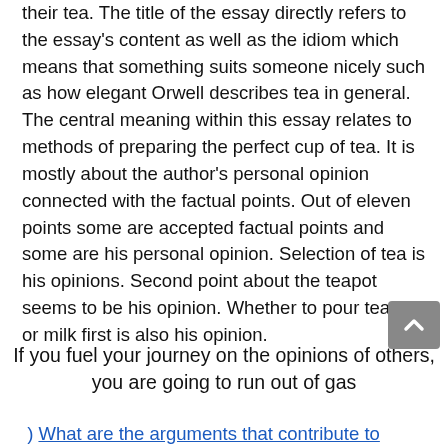their tea. The title of the essay directly refers to the essay's content as well as the idiom which means that something suits someone nicely such as how elegant Orwell describes tea in general. The central meaning within this essay relates to methods of preparing the perfect cup of tea. It is mostly about the author's personal opinion connected with the factual points. Out of eleven points some are accepted factual points and some are his personal opinion. Selection of tea is his opinions. Second point about the teapot seems to be his opinion. Whether to pour tea first or milk first is also his opinion.
If you fuel your journey on the opinions of others, you are going to run out of gas
What are the arguments that contribute to...